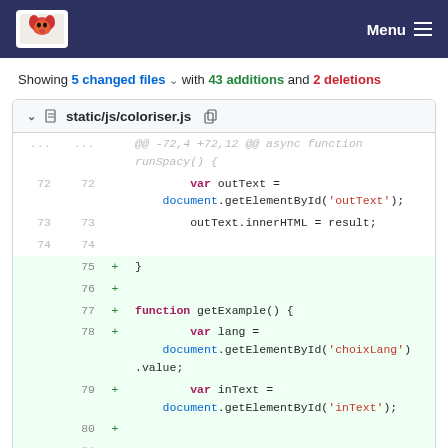Menu
Showing 5 changed files with 43 additions and 2 deletions
[Figure (screenshot): Git diff view showing static/js/coloriser.js with lines 72-80, showing added lines for getExample() function including var lang = document.getElementById('choixLang').value and var inText = document.getElementById('inText')]